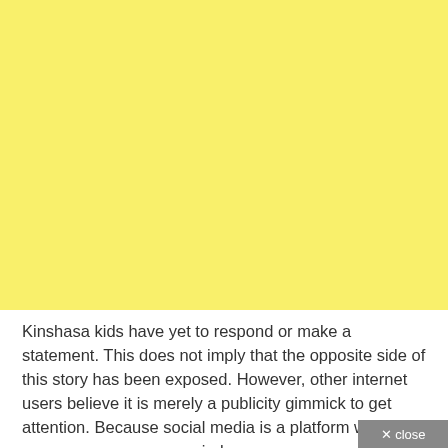[Figure (other): Large yellow/light yellow background area occupying the top portion of the page.]
Kinshasa kids have yet to respond or make a statement. This does not imply that the opposite side of this story has been exposed. However, other internet users believe it is merely a publicity gimmick to get attention. Because social media is a platform where any occurrence can go viral, users are exposed to a lot of scandals on a regular basis. We've given up